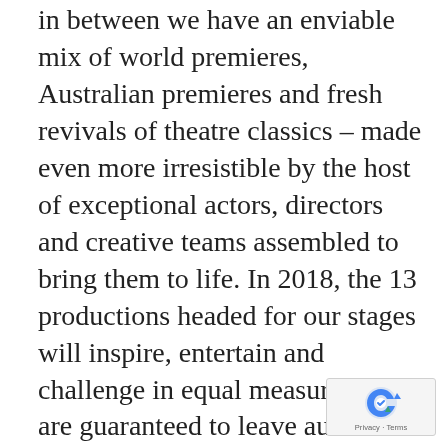in between we have an enviable mix of world premieres, Australian premieres and fresh revivals of theatre classics – made even more irresistible by the host of exceptional actors, directors and creative teams assembled to bring them to life. In 2018, the 13 productions headed for our stages will inspire, entertain and challenge in equal measure and are guaranteed to leave audiences thinking about the world a little differently,' Mr Sheehy said.
[Figure (other): reCAPTCHA badge with Privacy - Terms text]